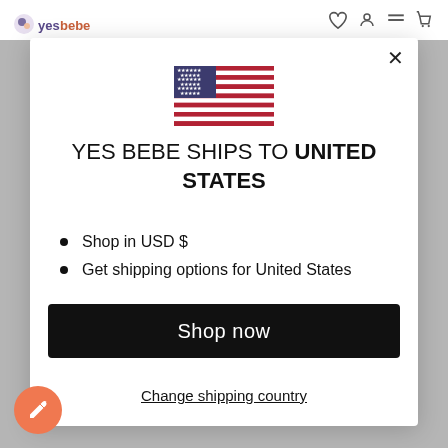[Figure (screenshot): Website navbar with YesBebe logo and navigation icons (wishlist, account, menu, cart)]
[Figure (illustration): US flag emoji/icon showing stars and stripes]
YES BEBE SHIPS TO UNITED STATES
Shop in USD $
Get shipping options for United States
Shop now
Change shipping country